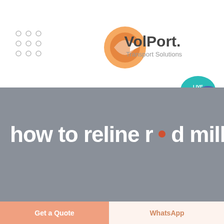[Figure (logo): VolPort Transport Solutions logo with orange circular swoosh graphic and text 'VolPort. Transport Solutions']
[Figure (infographic): Live Chat badge — teal speech bubble with 'LIVE CHAT' text in white]
how to reline rod mills
Get a Quote
WhatsApp